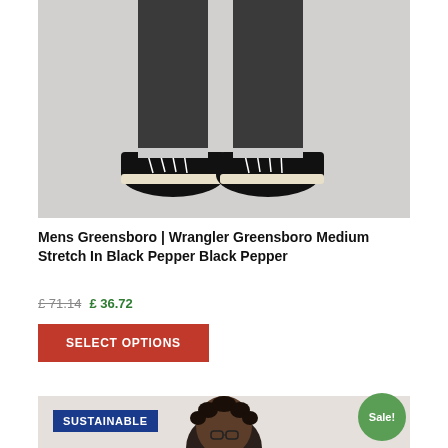[Figure (photo): Lower body of a person wearing dark grey/black slim jeans and black Converse high-top sneakers, standing against a light grey background.]
Mens Greensboro | Wrangler Greensboro Medium Stretch In Black Pepper Black Pepper
£71.14  £ 36.72
SELECT OPTIONS
[Figure (photo): Second product listing showing a person's head with curly hair, a SUSTAINABLE badge, and a Sale! badge.]